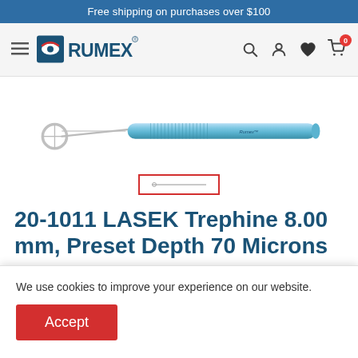Free shipping on purchases over $100
[Figure (logo): RUMEX brand logo with stylized eye icon and navigation bar with hamburger menu, search, account, wishlist, and cart icons]
[Figure (photo): LASEK Trephine surgical instrument - a long blue metal handle with textured grip and a small circular mirror/blade at the angled end]
[Figure (photo): Small thumbnail image of the same LASEK Trephine instrument, selected with red border]
20-1011 LASEK Trephine 8.00 mm, Preset Depth 70 Microns
We use cookies to improve your experience on our website.
Accept